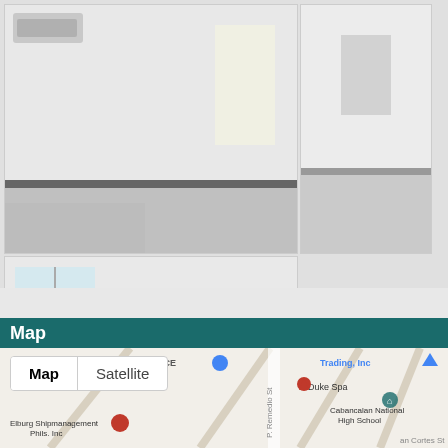[Figure (photo): Interior room with white walls, air conditioning unit, dark baseboard, light floor]
[Figure (photo): Open interior space with white walls, doorway visible at back]
[Figure (photo): Staircase with white walls, metal railing, bright windows]
[Figure (photo): Bathroom with toilet and sink, partially visible]
[Figure (photo): Empty room with window, wooden floor, dark door]
[Figure (photo): Empty white cell]
[Figure (photo): Empty white cell]
[Figure (photo): Empty white cell]
Map
[Figure (map): Google Map showing RIO RESIDENCE area, with markers for Duke Spa, Cabancalan National High School, Elburg Shipmanagement Phils. Inc, Trading Inc. Streets include P. Remedio St and an Cortes St. Map/Satellite toggle visible.]